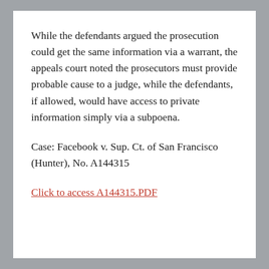While the defendants argued the prosecution could get the same information via a warrant, the appeals court noted the prosecutors must provide probable cause to a judge, while the defendants, if allowed, would have access to private information simply via a subpoena.
Case: Facebook v. Sup. Ct. of San Francisco (Hunter), No. A144315
Click to access A144315.PDF